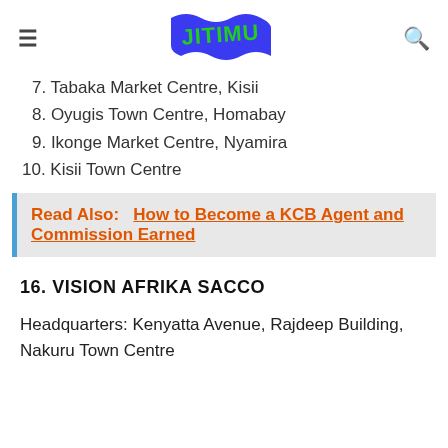JITIMU
7. Tabaka Market Centre, Kisii
8. Oyugis Town Centre, Homabay
9. Ikonge Market Centre, Nyamira
10. Kisii Town Centre
Read Also:   How to Become a KCB Agent and Commission Earned
16. VISION AFRIKA SACCO
Headquarters: Kenyatta Avenue, Rajdeep Building, Nakuru Town Centre